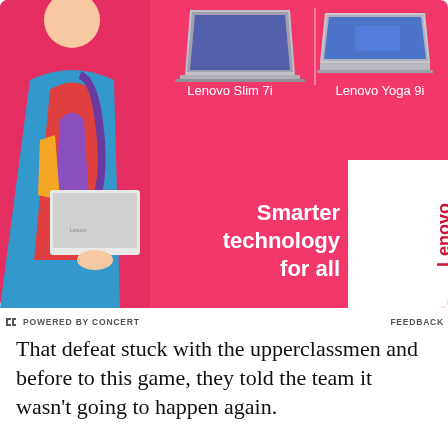[Figure (photo): Lenovo advertisement on pink/magenta background featuring a person in colorful clothing holding a white laptop, with product images of Lenovo Slim 7i and Lenovo Yoga 9i laptops, and text 'Smarter technology for all' with Lenovo logo badge]
POWERED BY CONCERT   FEEDBACK
That defeat stuck with the upperclassmen and before to this game, they told the team it wasn’t going to happen again.
“Our team captains talked to the team before the game about last year,” Cavanaugh said. “We won a game in overtime and we came here and lost 2-0, a hard fought